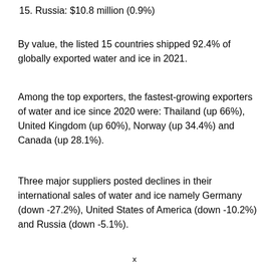15. Russia: $10.8 million (0.9%)
By value, the listed 15 countries shipped 92.4% of globally exported water and ice in 2021.
Among the top exporters, the fastest-growing exporters of water and ice since 2020 were: Thailand (up 66%), United Kingdom (up 60%), Norway (up 34.4%) and Canada (up 28.1%).
Three major suppliers posted declines in their international sales of water and ice namely Germany (down -27.2%), United States of America (down -10.2%) and Russia (down -5.1%).
x